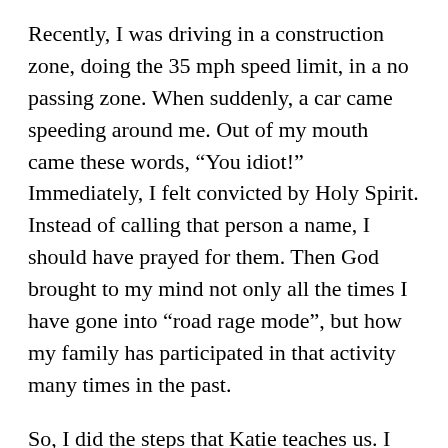Recently, I was driving in a construction zone, doing the 35 mph speed limit, in a no passing zone. When suddenly, a car came speeding around me. Out of my mouth came these words, “You idiot!” Immediately, I felt convicted by Holy Spirit. Instead of calling that person a name, I should have prayed for them. Then God brought to my mind not only all the times I have gone into “road rage mode”, but how my family has participated in that activity many times in the past.
So, I did the steps that Katie teaches us. I repented for calling that person a name, asked for Christ’s blood to cover my sin and the sins of my family line when it came to being provoked to anger, then asked for dunamis to come out of my spirit and into my soul,